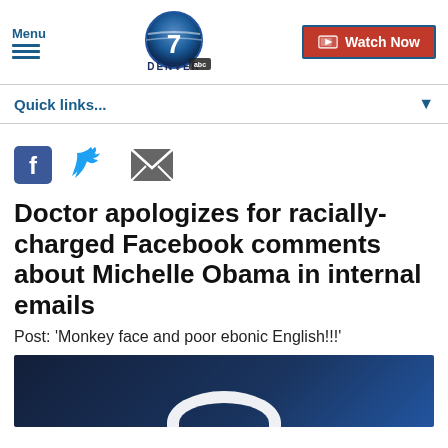Menu | Denver 7 ABC | Watch Now
Quick links...
[Figure (other): Social share icons: Facebook, Twitter, Email]
Doctor apologizes for racially-charged Facebook comments about Michelle Obama in internal emails
Post: 'Monkey face and poor ebonic English!!!'
[Figure (photo): Dark blue image with a white arc/circle graphic, likely a news video thumbnail]